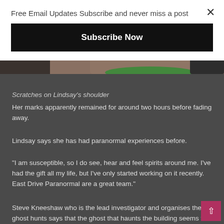Free Email Updates Subscribe and never miss a post
Subscribe Now
[Figure (photo): Close-up of a person's shoulder with scratches visible and a green glow/light artifact at the neck area. The image is partially cropped showing skin, hand, and dark background.]
Scratches on Lindsay's shoulder
Her marks apparently remained for around two hours before fading away.
Lindsay says she has had paranormal experiences before.
"I am susceptible, so I do see, hear and feel spirits around me. I've had the gift all my life, but I've only started working on it recently. East Drive Paranormal are a great team."
Steve Kneeshaw who is the lead investigator and organises the ghost hunts says that the ghost that haunts the building seems to